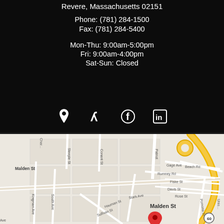Revere, Massachusetts 02151
Phone: (781) 284-1500
Fax: (781) 284-5400
Mon-Thu: 9:00am-5:00pm
Fri: 9:00am-4:00pm
Sat-Sun: Closed
[Figure (infographic): Social media and location icons: map pin, Yelp, Facebook, LinkedIn]
[Figure (map): Google Maps screenshot showing street map of Revere, Massachusetts area with streets including Malden St, Patriot, Conant St, Steeple St, Gage Ave, Rumney Rd, Beach Rd, Fiske St, Davis St, Rose St, Pomona St, South Ave, Hauman St, Sullivan St, Kingman Ave, Stark Ave. A yellow highway curves on the right. A red map pin marker is visible near Malden St.]